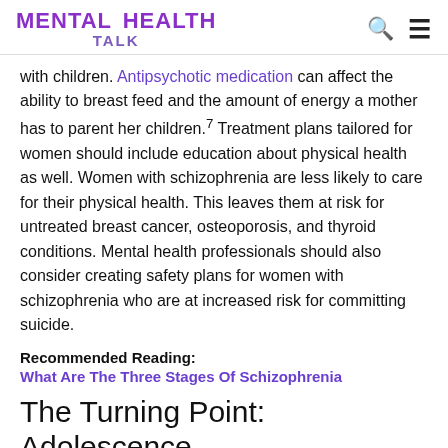MENTAL HEALTH TALK
with children. Antipsychotic medication can affect the ability to breast feed and the amount of energy a mother has to parent her children.7 Treatment plans tailored for women should include education about physical health as well. Women with schizophrenia are less likely to care for their physical health. This leaves them at risk for untreated breast cancer, osteoporosis, and thyroid conditions. Mental health professionals should also consider creating safety plans for women with schizophrenia who are at increased risk for committing suicide.
Recommended Reading:
What Are The Three Stages Of Schizophrenia
The Turning Point: Adolescence